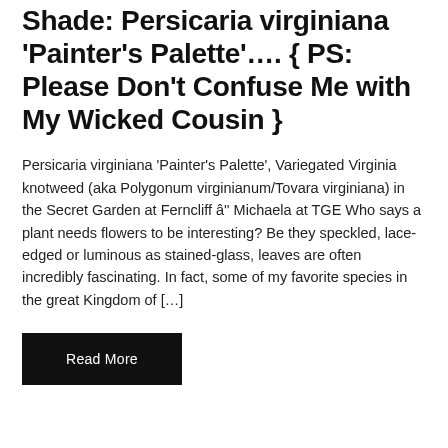Shade: Persicaria virginiana 'Painter's Palette'…. { PS: Please Don't Confuse Me with My Wicked Cousin }
Persicaria virginiana 'Painter's Palette', Variegated Virginia knotweed (aka Polygonum virginianum/Tovara virginiana) in the Secret Garden at Ferncliff â'' Michaela at TGE Who says a plant needs flowers to be interesting? Be they speckled, lace-edged or luminous as stained-glass, leaves are often incredibly fascinating. In fact, some of my favorite species in the great Kingdom of […]
Read More